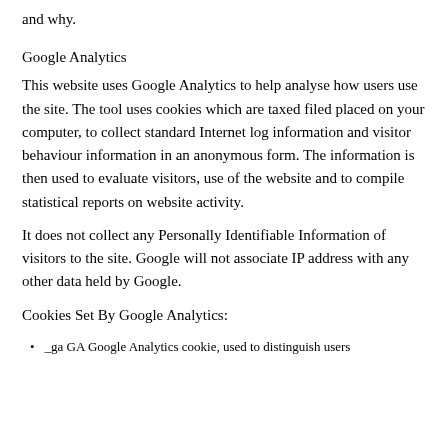and why.
Google Analytics
This website uses Google Analytics to help analyse how users use the site. The tool uses cookies which are taxed filed placed on your computer, to collect standard Internet log information and visitor behaviour information in an anonymous form. The information is then used to evaluate visitors, use of the website and to compile statistical reports on website activity.
It does not collect any Personally Identifiable Information of visitors to the site. Google will not associate IP address with any other data held by Google.
Cookies Set By Google Analytics:
_ga GA Google Analytics cookie, used to distinguish users